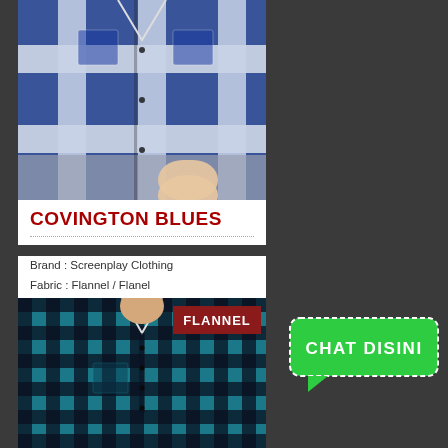[Figure (photo): Blue plaid flannel shirt on model, torso/upper body view]
COVINGTON BLUES
Brand : Screenplay Clothing
Fabric : Flannel / Flanel
Price : Rp. 329k Rp. 230rb
[Figure (photo): Teal/black plaid flannel shirt on model with FLANNEL badge]
[Figure (infographic): Green chat bubble button with text CHAT DISINI]